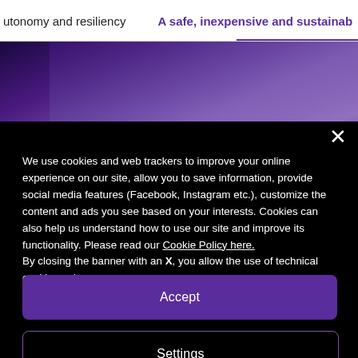utonomy and resiliency    A safe, inexpensive and sustainab
[Figure (photo): Purple/dark purple background image strip showing a partial overhead or architectural scene]
We use cookies and web trackers to improve your online experience on our site, allow you to save information, provide social media features (Facebook, Instagram etc.), customize the content and ads you see based on your interests. Cookies can also help us understand how to use our site and improve its functionality. Please read our Cookie Policy here.
By closing the banner with an X, you allow the use of technical cookies only.
Accept
Settings